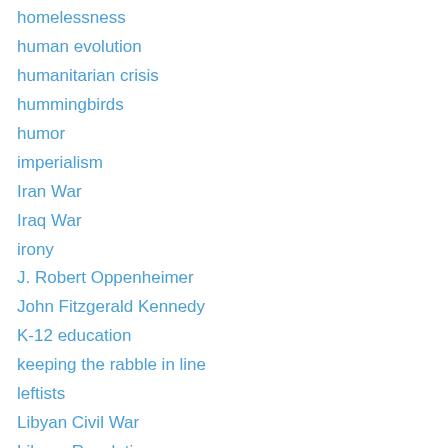homelessness
human evolution
humanitarian crisis
hummingbirds
humor
imperialism
Iran War
Iraq War
irony
J. Robert Oppenheimer
John Fitzgerald Kennedy
K-12 education
keeping the rabble in line
leftists
Libyan Civil War
Libyan Revolution
life on earth
Lou Reed
mental health
metabolism